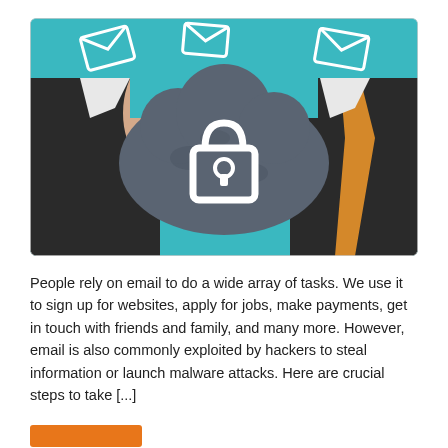[Figure (photo): A person in a suit holding a dark cloud-shaped object with a padlock icon drawn on it. In the background there are envelope/email icons drawn in white outline, symbolizing email security or cloud security.]
People rely on email to do a wide array of tasks. We use it to sign up for websites, apply for jobs, make payments, get in touch with friends and family, and many more. However, email is also commonly exploited by hackers to steal information or launch malware attacks. Here are crucial steps to take [...]